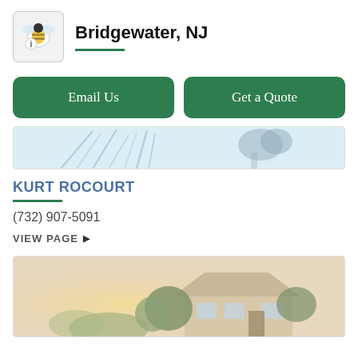[Figure (logo): Insurance agent app logo/icon with bee or bug mascot and info symbol]
Bridgewater, NJ
Email Us
Get a Quote
[Figure (photo): Banner photo showing abstract nature/plant imagery in light blue tones]
KURT ROCOURT
(732) 907-5091
VIEW PAGE ▶
[Figure (photo): Photo of a suburban house exterior with trees and landscaping in warm tones]